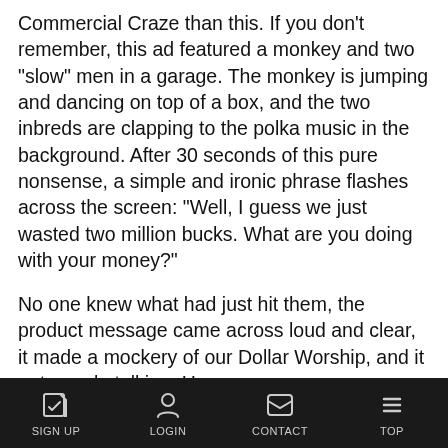Commercial Craze than this. If you don't remember, this ad featured a monkey and two "slow" men in a garage. The monkey is jumping and dancing on top of a box, and the two inbreds are clapping to the polka music in the background. After 30 seconds of this pure nonsense, a simple and ironic phrase flashes across the screen: "Well, I guess we just wasted two million bucks. What are you doing with your money?"
No one knew what had just hit them, the product message came across loud and clear, it made a mockery of our Dollar Worship, and it got people talking. Home run.
1) Apple (1984): "1984"
Brilliant, and socially relevant, this ad starts as a dull spot set in an Orwellian age. Big Brother, representing IBM, is droning on in front of a group of soulless drudges on a gigantic monitor. Suddenly, a blonde woman comes charging in from the back of
SIGN UP   LOGIN   CONTACT   TOP